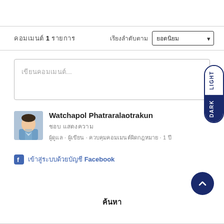คอมเมนต์ 1 รายการ
เรียงลำดับตาม ยอดนิยม
เขียนคอมเมนต์...
[Figure (screenshot): Light/Dark mode toggle button on right side]
[Figure (photo): Profile photo of Watchapol Phatraralaotrakun]
Watchapol Phatraralaotrakun
ชอบ แสดงความ
ผู้ดูแล · ผู้เขียน · ควบคุมคอมเมนต์ผิดกฎหมาย · 1 ปี
เข้าสู่ระบบด้วยบัญชี Facebook
ค้นหา